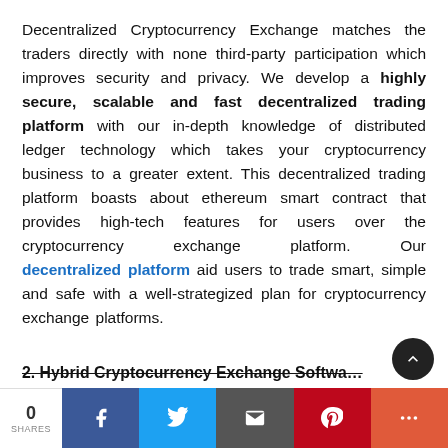Decentralized Cryptocurrency Exchange matches the traders directly with none third-party participation which improves security and privacy. We develop a highly secure, scalable and fast decentralized trading platform with our in-depth knowledge of distributed ledger technology which takes your cryptocurrency business to a greater extent. This decentralized trading platform boasts about ethereum smart contract that provides high-tech features for users over the cryptocurrency exchange platform. Our decentralized platform aid users to trade smart, simple and safe with a well-strategized plan for cryptocurrency exchange platforms.
2. Hybrid Cryptocurrency Exchange Software
0 SHARES | Facebook | Twitter | Email | Pinterest | More